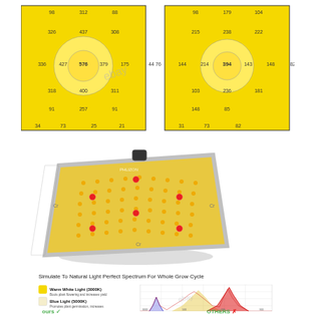[Figure (other): Two PAR (photosynthetically active radiation) light distribution maps side by side on yellow backgrounds, showing numeric light intensity values at various grid positions with circular heat patterns in the center.]
[Figure (photo): LED grow light panel (PHLIZON brand) shown in angled perspective view, white/silver housing with dense golden LED chips and red accent LEDs, shown against white background.]
Simulate To Natural Light Perfect Spectrum For Whole Grow Cycle
[Figure (other): Light spectrum chart showing wavelength distribution with peaks for blue light around 450nm, and large red/warm peaks around 630-660nm. Chart has gridlines and numeric axis labels.]
Warm White Light (3000K) - Boots plant flowering and increases yield
Blue Light (5000K) - Promotes plant germination, increases the growth rate of plants
RED Light (660nm) - Increases yield when combined with blue light
[Figure (other): Bottom comparison section showing 'ours' with checkmark (green) featuring a modern LED grow light hanging, and 'OTHERS' with X mark showing a traditional grid-style grow light panel.]